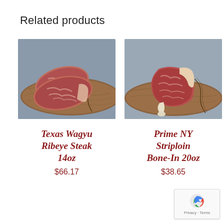Related products
[Figure (photo): Photo of Texas Wagyu Ribeye Steak 14oz — two slices of heavily marbled beef on a rustic wooden board]
Texas Wagyu Ribeye Steak 14oz
$66.17
[Figure (photo): Photo of Prime NY Striploin Bone-In 20oz — a thick bone-in striploin steak on a rustic wooden board]
Prime NY Striploin Bone-In 20oz
$38.65